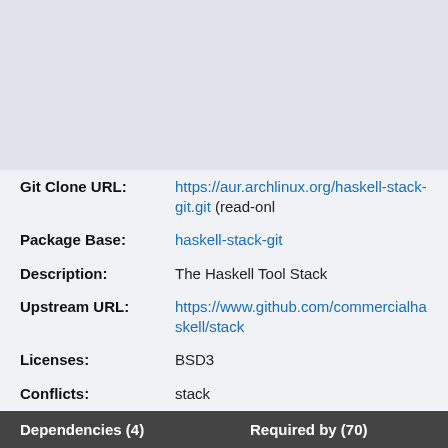| Git Clone URL: | https://aur.archlinux.org/haskell-stack-git.git (read-on… |
| Package Base: | haskell-stack-git |
| Description: | The Haskell Tool Stack |
| Upstream URL: | https://www.github.com/commercialhaskell/stack |
| Licenses: | BSD3 |
| Conflicts: | stack |
| Provides: | stack |
| Submitter: | ksira |
| Maintainer: | ksira (borsboom) |
| Last Packager: | ksira |
| Votes: | 2 |
| Popularity: | 0.000000 |
| First Submitted: | 2015-06-09 08:33 (UTC) |
| Last Updated: | 2016-01-18 07:10 (UTC) |
Dependencies (4)
Required by (70)